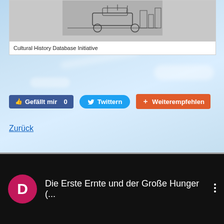[Figure (screenshot): Embedded video player showing Cultural History Database Initiative with playback controls and red progress bar]
Cultural History Database Initiative
[Figure (screenshot): Social media sharing buttons: Gefällt mir 0 (Facebook), Twittern (Twitter), Weiterempfehlen (orange button)]
Zurück
[Figure (screenshot): YouTube video list item with pink D avatar circle and title: Die Erste Ernte und der Große Hunger (... with three-dot menu icon, on black background]